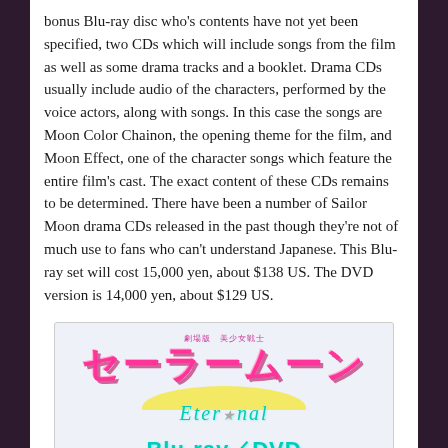bonus Blu-ray disc who's contents have not yet been specified, two CDs which will include songs from the film as well as some drama tracks and a booklet. Drama CDs usually include audio of the characters, performed by the voice actors, along with songs. In this case the songs are Moon Color Chainon, the opening theme for the film, and Moon Effect, one of the character songs which feature the entire film's cast. The exact content of these CDs remains to be determined. There have been a number of Sailor Moon drama CDs released in the past though they're not of much use to fans who can't understand Japanese. This Blu-ray set will cost 15,000 yen, about $138 US. The DVD version is 14,000 yen, about $129 US.
[Figure (illustration): Sailor Moon Eternal Blu-ray/DVD release advertisement showing Japanese anime logo in pink/magenta with crescent moon graphic and teal text reading 'Blu-ray/DVD 2021.6.30 発売!' (release date)]